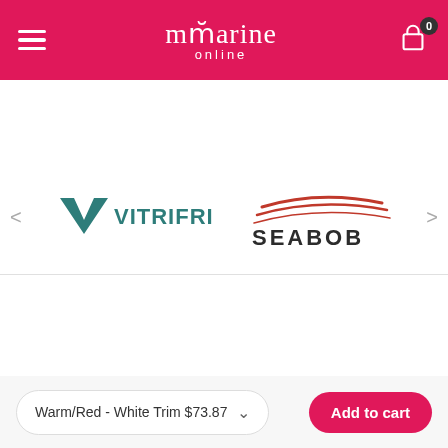mmarine online — navigation header with hamburger menu, logo, and cart icon (0 items)
[Figure (logo): VITRIFRIGO brand logo in dark teal color with checkmark V icon]
[Figure (logo): SEABOB brand logo with red curved swoosh above stylized text]
Sign up to Newsletter
Enter your email address
Submit
Warm/Red - White Trim $73.87
Add to cart